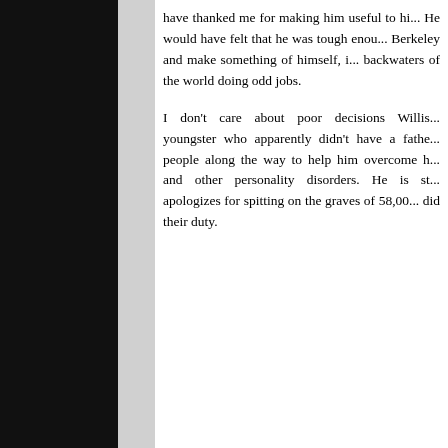have thanked me for making him useful to hi... He would have felt that he was tough enou... Berkeley and make something of himself, i... backwaters of the world doing odd jobs.
I don't care about poor decisions Willis... youngster who apparently didn't have a fathe... people along the way to help him overcome h... and other personality disorders. He is st... apologizes for spitting on the graves of 58,00... did their duty.
John Whitman says:
October 14, 2013 at 11:57 AM
In my immediate comment above I have no idea where...